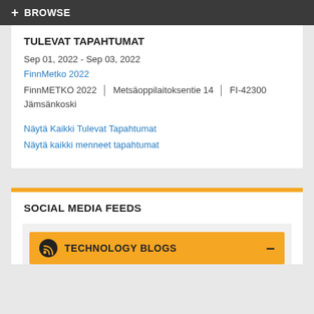+ BROWSE
TULEVAT TAPAHTUMAT
Sep 01, 2022 - Sep 03, 2022
FinnMetko 2022
FinnMETKO 2022 | Metsäoppilaitoksentie 14 | FI-42300 Jämsänkoski
Näytä Kaikki Tulevat Tapahtumat
Näytä kaikki menneet tapahtumat
SOCIAL MEDIA FEEDS
TECHNOLOGY BLOGS